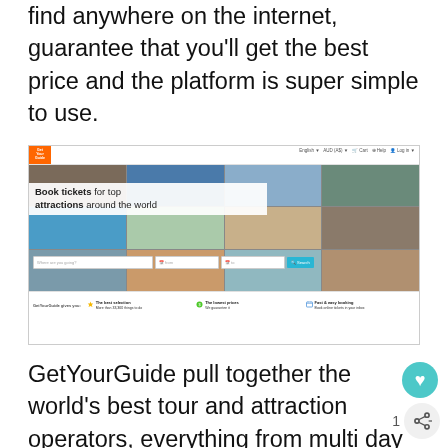find anywhere on the internet, guarantee that you'll get the best price and the platform is super simple to use.
[Figure (screenshot): Screenshot of the GetYourGuide website homepage showing a navigation bar with logo, a hero image collage of travel destinations, 'Book tickets for top attractions around the world' headline, a search bar with destination/date fields and Search button, and a footer strip with 'The best selection', 'The lowest prices', and 'Fast & easy booking' features.]
GetYourGuide pull together the world's best tour and attraction operators, everything from multi day adventures to full and half day tours, experience and attraction passes and...